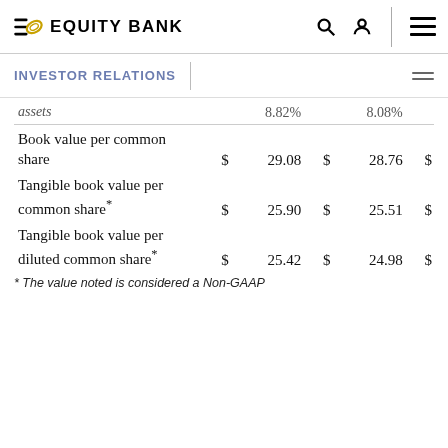Equity Bank
INVESTOR RELATIONS
|  | $ |  | $ |  | $ |
| --- | --- | --- | --- | --- | --- |
| assets | 8.82% |  | 8.08% |  |  |
| Book value per common share | $ | 29.08 | $ | 28.76 | $ |
| Tangible book value per common share* | $ | 25.90 | $ | 25.51 | $ |
| Tangible book value per diluted common share* | $ | 25.42 | $ | 24.98 | $ |
* The value noted is considered a Non-GAAP